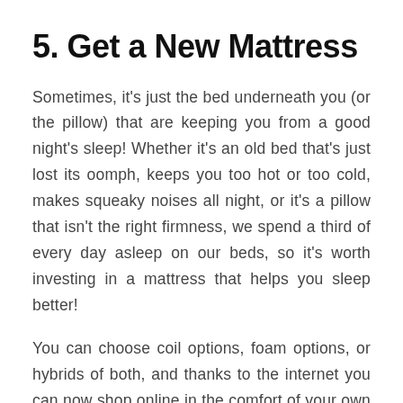5. Get a New Mattress
Sometimes, it’s just the bed underneath you (or the pillow) that are keeping you from a good night’s sleep! Whether it’s an old bed that’s just lost its oomph, keeps you too hot or too cold, makes squeaky noises all night, or it’s a pillow that isn’t the right firmness, we spend a third of every day asleep on our beds, so it’s worth investing in a mattress that helps you sleep better!
You can choose coil options, foam options, or hybrids of both, and thanks to the internet you can now shop online in the comfort of your own home.